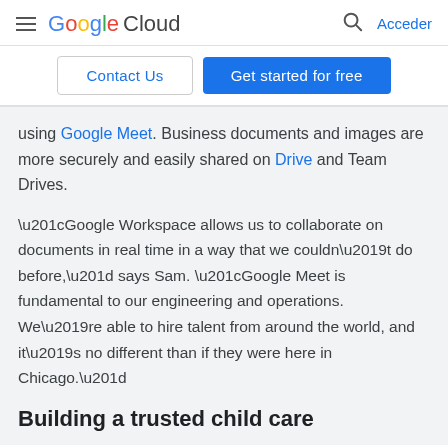Google Cloud — Acceder
Contact Us | Get started for free
using Google Meet. Business documents and images are more securely and easily shared on Drive and Team Drives.
“Google Workspace allows us to collaborate on documents in real time in a way that we couldn’t do before,” says Sam. “Google Meet is fundamental to our engineering and operations. We’re able to hire talent from around the world, and it’s no different than if they were here in Chicago.”
Building a trusted child care